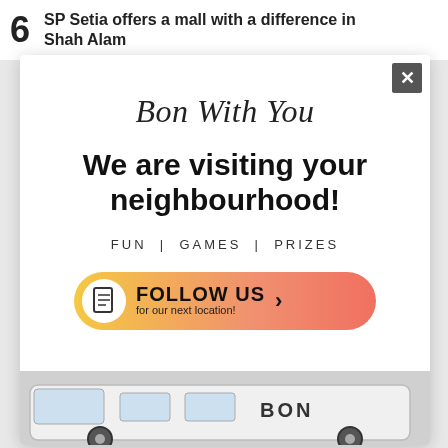6 SP Setia offers a mall with a difference in Shah Alam
Bon With You
We are visiting your neighbourhood!
FUN | GAMES | PRIZES
[Figure (infographic): Orange gradient rounded button with document icon and text: FOLLOW US > for our next location!]
[Figure (photo): Partial view of a van with BON branding at the bottom of the modal]